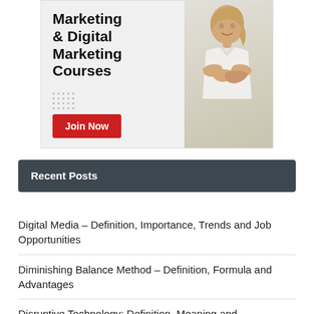[Figure (illustration): Advertisement banner for Marketing and Digital Marketing Courses with a woman in white shirt with arms crossed, and a red 'Join Now' button]
Recent Posts
Digital Media – Definition, Importance, Trends and Job Opportunities
Diminishing Balance Method – Definition, Formula and Advantages
Disruptive Technology: Definition, Meaning and